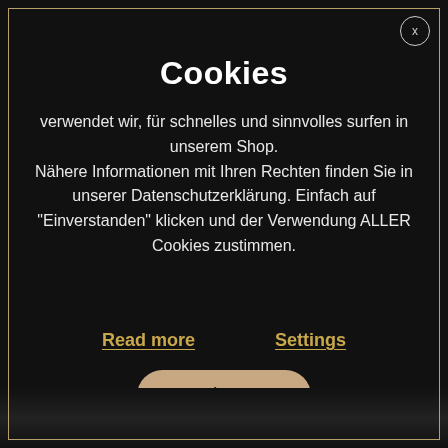Cookies
verwendet wir, für schnelles und sinnvolles surfen in unserem Shop. Nähere Informationen mit Ihren Rechten finden Sie in unserer Datenschutzerklärung. Einfach auf "Einverstanden" klicken und der Verwendung ALLER Cookies zustimmen.
Read more
Settings
Okay!